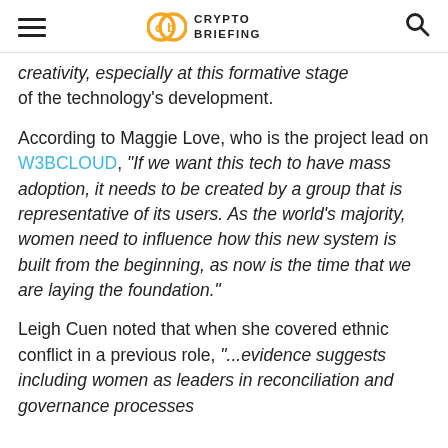Crypto Briefing
creativity, especially at this formative stage of the technology's development.
According to Maggie Love, who is the project lead on W3BCLOUD, “If we want this tech to have mass adoption, it needs to be created by a group that is representative of its users. As the world’s majority, women need to influence how this new system is built from the beginning, as now is the time that we are laying the foundation.”
Leigh Cuen noted that when she covered ethnic conflict in a previous role, “...evidence suggests including women as leaders in reconciliation and governance processes